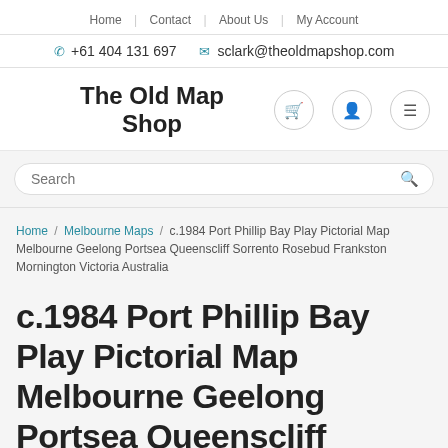Home | Contact | About Us | My Account
+61 404 131 697  sclark@theoldmapshop.com
The Old Map Shop
Search
Home / Melbourne Maps / c.1984 Port Phillip Bay Play Pictorial Map Melbourne Geelong Portsea Queenscliff Sorrento Rosebud Frankston Mornington Victoria Australia
c.1984 Port Phillip Bay Play Pictorial Map Melbourne Geelong Portsea Queenscliff Sorrento Rosebud Frankston Mornington Victoria Australia